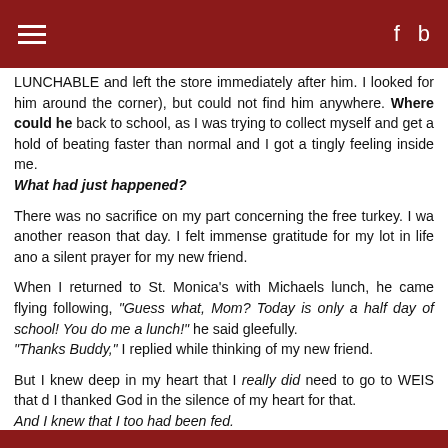≡   f  b
LUNCHABLE and left the store immediately after him. I looked for him around the corner), but could not find him anywhere. Where could he back to school, as I was trying to collect myself and get a hold of beating faster than normal and I got a tingly feeling inside me. What had just happened?
There was no sacrifice on my part concerning the free turkey. I was another reason that day. I felt immense gratitude for my lot in life and a silent prayer for my new friend.
When I returned to St. Monica's with Michaels lunch, he came flying following, "Guess what, Mom? Today is only a half day of school! You do me a lunch!" he said gleefully. "Thanks Buddy," I replied while thinking of my new friend.
But I knew deep in my heart that I really did need to go to WEIS that d I thanked God in the silence of my heart for that. And I knew that I too had been fed.
"Often, often, often goes Christ in the strangers' guise."—Ancient Gae